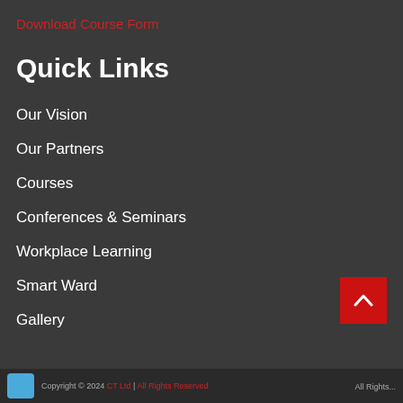Download Course Form
Quick Links
Our Vision
Our Partners
Courses
Conferences & Seminars
Workplace Learning
Smart Ward
Gallery
All Rights Reserved